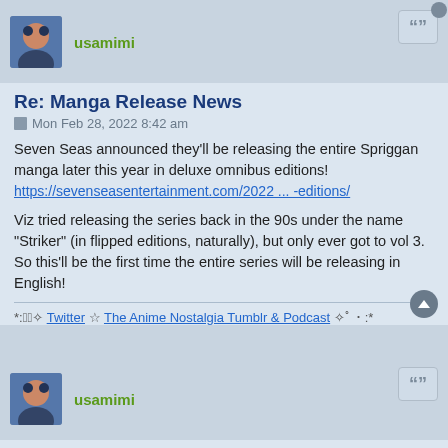usamimi
Re: Manga Release News
Mon Feb 28, 2022 8:42 am
Seven Seas announced they'll be releasing the entire Spriggan manga later this year in deluxe omnibus editions!
https://sevenseasentertainment.com/2022 ... -editions/
Viz tried releasing the series back in the 90s under the name "Striker" (in flipped editions, naturally), but only ever got to vol 3. So this'll be the first time the entire series will be releasing in English!
*:・ﾟ✧ Twitter ☆ The Anime Nostalgia Tumblr & Podcast ✧ﾟ・:*
usamimi
Re: Manga Release News
Sun Mar 27, 2022 6:10 pm
Kodansha announced recently they will be releasing Kyoko Ozaki's 90s josei manga, River's Edge! Currently slated for this December: